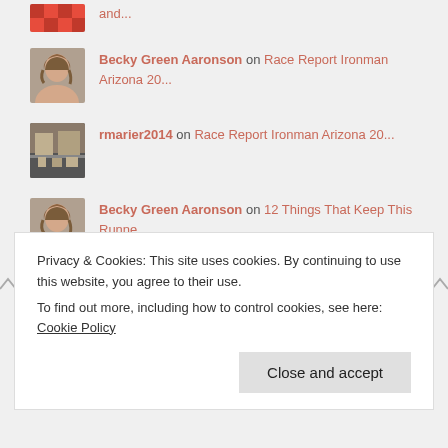and...
Becky Green Aaronson on Race Report Ironman Arizona 20...
rmarier2014 on Race Report Ironman Arizona 20...
Becky Green Aaronson on 12 Things That Keep This Runne...
Privacy & Cookies: This site uses cookies. By continuing to use this website, you agree to their use. To find out more, including how to control cookies, see here: Cookie Policy